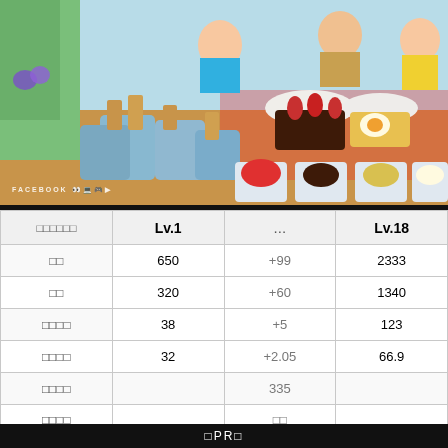[Figure (screenshot): A mobile cooking game screenshot showing a kitchen scene with toasters, bread, plates with food (strawberry chocolate toast, egg toast), ingredient bowls (strawberries, chocolate spread, egg mix, fried egg), cartoon characters in the background, and a Facebook watermark.]
| □□□□□□ | Lv.1 | ... | Lv.18 |
| --- | --- | --- | --- |
| □□ | 650 | +99 | 2333 |
| □□ | 320 | +60 | 1340 |
| □□□□ | 38 | +5 | 123 |
| □□□□ | 32 | +2.05 | 66.9 |
| □□□□ |  | 335 |  |
| □□□□ |  | □□ |  |
□PR□